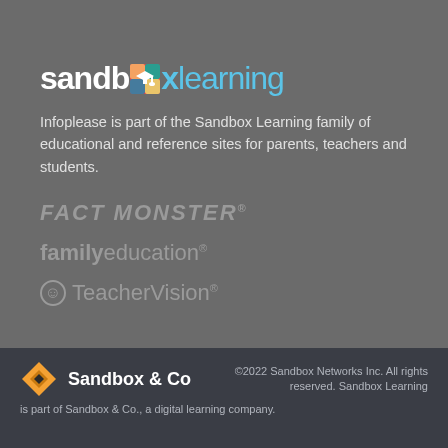[Figure (logo): Sandbox Learning logo with colorful graduation cap icon replacing the 'o', text 'sandboxlearning' in white and blue]
Infoplease is part of the Sandbox Learning family of educational and reference sites for parents, teachers and students.
[Figure (logo): Fact Monster logo in gray italic bold uppercase text with registered trademark symbol]
[Figure (logo): familyeducation logo in gray with 'family' in bold and 'education' in regular weight, with registered trademark symbol]
[Figure (logo): TeacherVision logo with apple icon and gray text, registered trademark symbol]
[Figure (logo): Sandbox & Co logo with orange diamond/rhombus icon]
©2022 Sandbox Networks Inc. All rights reserved. Sandbox Learning is part of Sandbox & Co., a digital learning company.